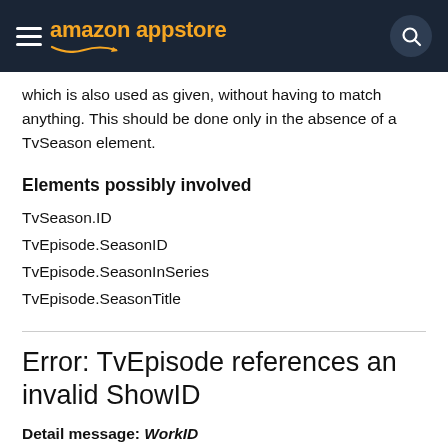amazon appstore
which is also used as given, without having to match anything. This should be done only in the absence of a TvSeason element.
Elements possibly involved
TvSeason.ID
TvEpisode.SeasonID
TvEpisode.SeasonInSeries
TvEpisode.SeasonTitle
Error: TvEpisode references an invalid ShowID
Detail message: WorkID